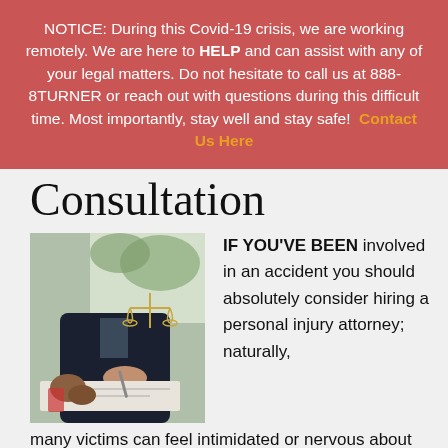NOTICE: During this Covid-19 crisis, we are working remotely. We are here to HELP and can assist with any of your legal matters. Do not hesitate to call us at 888-8TURNER or reach out with questions during this difficult time. Most importantly, stay well and stay safe! Contact Us Here
Consultation
[Figure (photo): A person in a suit sitting at a desk with a pen and documents; a set of golden scales of justice is visible in the background near a window.]
IF YOU'VE BEEN involved in an accident you should absolutely consider hiring a personal injury attorney; naturally, many victims can feel intimidated or nervous about visiting a lawyer's office for … [Read more...]